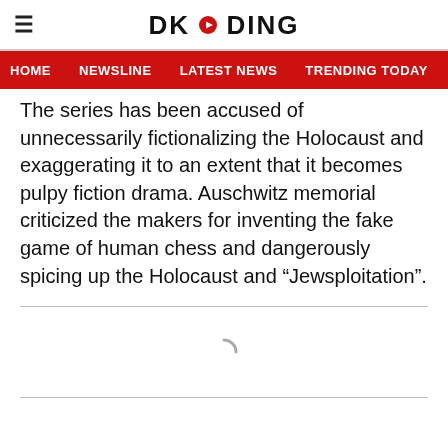DKODING
HOME   NEWSLINE   LATEST NEWS   TRENDING TODAY   ENT
The series has been accused of unnecessarily fictionalizing the Holocaust and exaggerating it to an extent that it becomes pulpy fiction drama. Auschwitz memorial criticized the makers for inventing the fake game of human chess and dangerously spicing up the Holocaust and “Jewsploitation”.
[Figure (other): Loading spinner icon]